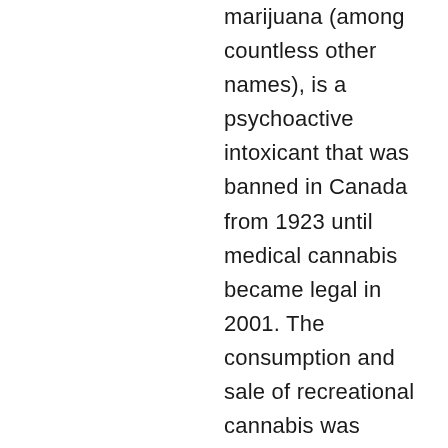marijuana (among countless other names), is a psychoactive intoxicant that was banned in Canada from 1923 until medical cannabis became legal in 2001. The consumption and sale of recreational cannabis was legalized and regulated on 17 October 2018, after Parliament passed Bill C-45, the Cannabis Act. Legalization was supported by a majority of Canadians, despite concerns about the drug's addictiveness and health